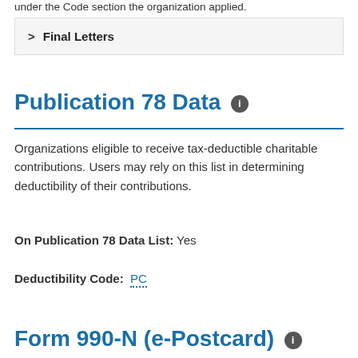under the Code section the organization applied.
Final Letters
Publication 78 Data
Organizations eligible to receive tax-deductible charitable contributions. Users may rely on this list in determining deductibility of their contributions.
On Publication 78 Data List: Yes
Deductibility Code: PC
Form 990-N (e-Postcard)